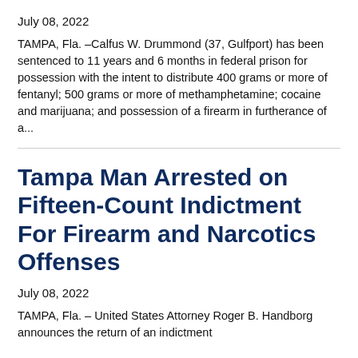July 08, 2022
TAMPA, Fla. –Calfus W. Drummond (37, Gulfport) has been sentenced to 11 years and 6 months in federal prison for possession with the intent to distribute 400 grams or more of fentanyl; 500 grams or more of methamphetamine; cocaine and marijuana; and possession of a firearm in furtherance of a...
Tampa Man Arrested on Fifteen-Count Indictment For Firearm and Narcotics Offenses
July 08, 2022
TAMPA, Fla. – United States Attorney Roger B. Handborg announces the return of an indictment